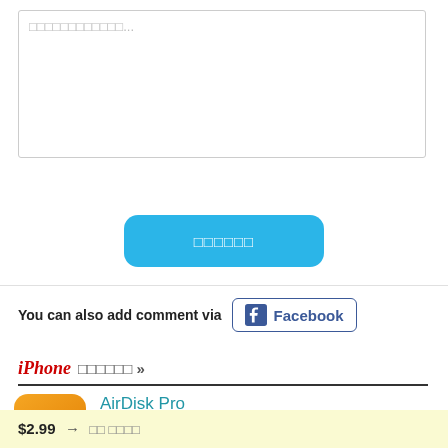[Figure (screenshot): Text input area (textarea) with placeholder text in Japanese/CJK characters followed by ellipsis]
[Figure (screenshot): Blue rounded submit button with CJK placeholder text label]
You can also add comment via
[Figure (screenshot): Facebook button with Facebook icon and text 'Facebook']
iPhone [CJK characters] »
AirDisk Pro
[Figure (illustration): AirDisk Pro app icon: orange gradient background with white folder and wifi signal icon]
AirDisk Pro allows you to store, view and manage files on your iPhone, iPad or iPod touch.
$2.99 → [CJK characters]